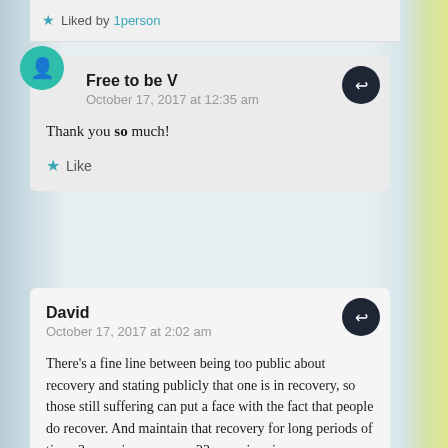★ Liked by 1person
Free to be V
October 17, 2017 at 12:35 am

Thank you so much!

★ Like
David
October 17, 2017 at 2:02 am

There's a fine line between being too public about recovery and stating publicly that one is in recovery, so those still suffering can put a face with the fact that people do recover. And maintain that recovery for long periods of time, 3 years in your case, 23 years in mine.